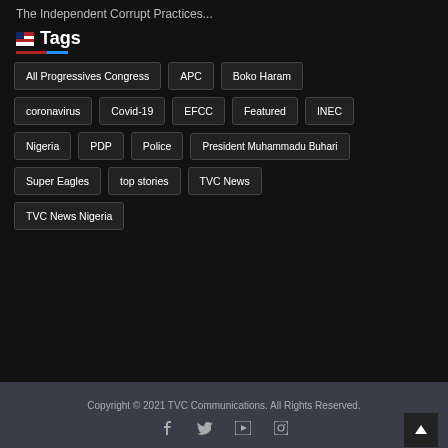The Independent Corrupt Practices...
Tags
All Progressives Congress
APC
Boko Haram
coronavirus
Covid-19
EFCC
Featured
INEC
Nigeria
PDP
Police
President Muhammadu Buhari
Super Eagles
top stories
TVC News
TVC News Nigeria
Copyright © 2021 TVC Communications. All Rights Reserved.